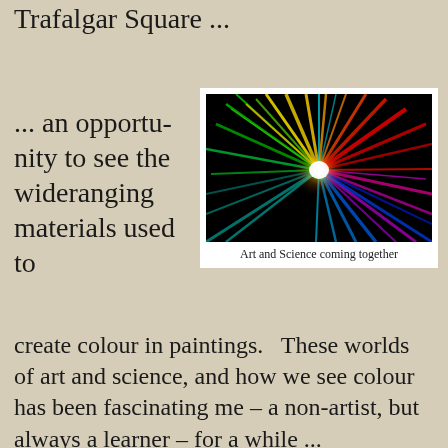Trafalgar Square ...
... an opportunity to see the wide-ranging materials used to
[Figure (photo): Colorful starburst explosion of light rays on black background, representing art and science coming together. Vivid rainbow colors radiating from a white center point.]
Art and Science coming together
create colour in paintings.   These worlds of art and science, and how we see colour has been fascinating me – a non-artist, but always a learner – for a while ...